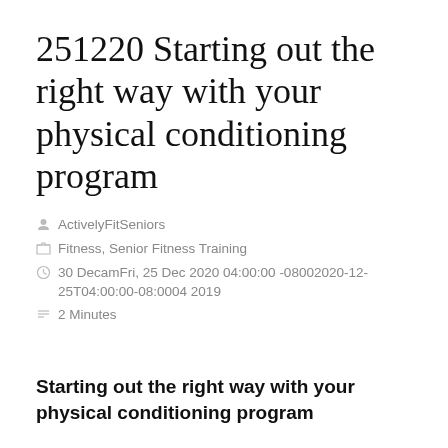251220 Starting out the right way with your physical conditioning program
ActivelyFitSeniors
Fitness, Senior Fitness Training
30 DecamFri, 25 Dec 2020 04:00:00 -08002020-12-25T04:00:00-08:0004 2019
2 Minutes
Starting out the right way with your physical conditioning program